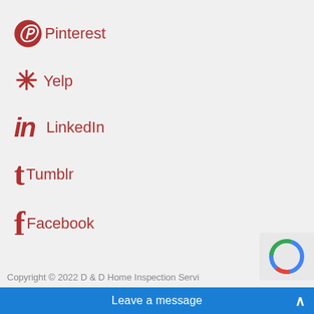Pinterest
Yelp
LinkedIn
Tumblr
Facebook
Copyright © 2022 D & D Home Inspection Servi...
Leave a message